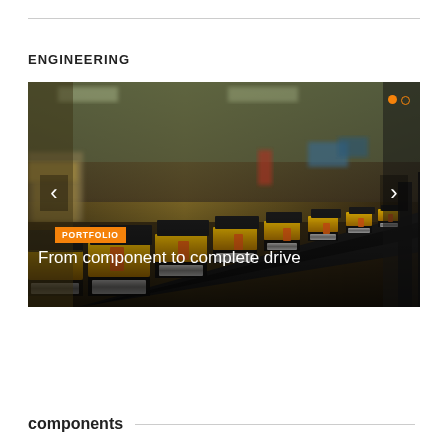ENGINEERING
[Figure (photo): Industrial conveyor with rows of yellow and black drive components (motors/rollers) in a manufacturing facility. Orange-tagged PORTFOLIO badge overlay. Caption reads 'From component to complete drive'. Navigation arrows left and right. Two dots indicator top right (one orange filled, one outlined).]
components